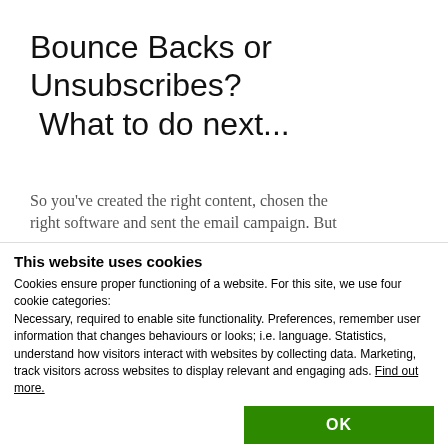Bounce Backs or Unsubscribes? What to do next...
So you’ve created the right content, chosen the right software and sent the email campaign. But
This website uses cookies
Cookies ensure proper functioning of a website. For this site, we use four cookie categories:
Necessary, required to enable site functionality. Preferences, remember user information that changes behaviours or looks; i.e. language. Statistics, understand how visitors interact with websites by collecting data. Marketing, track visitors across websites to display relevant and engaging ads. Find out more.
OK
Necessary  Preferences  Statistics  Marketing  Show details